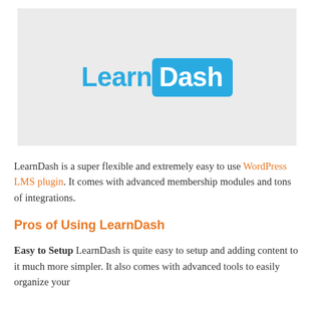[Figure (logo): LearnDash logo on a light grey background. 'Learn' in blue text and 'Dash' in white text on a blue rounded rectangle.]
LearnDash is a super flexible and extremely easy to use WordPress LMS plugin. It comes with advanced membership modules and tons of integrations.
Pros of Using LearnDash
Easy to Setup LearnDash is quite easy to setup and adding content to it much more simpler. It also comes with advanced tools to easily organize your